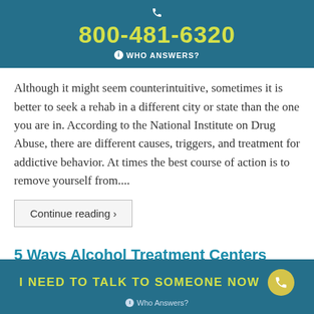800-481-6320 WHO ANSWERS?
Although it might seem counterintuitive, sometimes it is better to seek a rehab in a different city or state than the one you are in. According to the National Institute on Drug Abuse, there are different causes, triggers, and treatment for addictive behavior. At times the best course of action is to remove yourself from....
Continue reading ›
5 Ways Alcohol Treatment Centers Help You Heal
I NEED TO TALK TO SOMEONE NOW Who Answers?